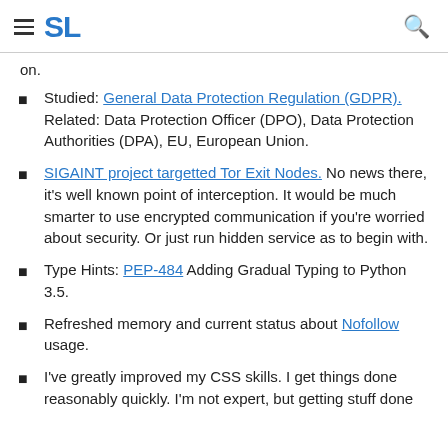SL
on.
Studied: General Data Protection Regulation (GDPR). Related: Data Protection Officer (DPO), Data Protection Authorities (DPA), EU, European Union.
SIGAINT project targetted Tor Exit Nodes. No news there, it's well known point of interception. It would be much smarter to use encrypted communication if you're worried about security. Or just run hidden service as to begin with.
Type Hints: PEP-484 Adding Gradual Typing to Python 3.5.
Refreshed memory and current status about Nofollow usage.
I've greatly improved my CSS skills. I get things done reasonably quickly. I'm not expert, but getting stuff done